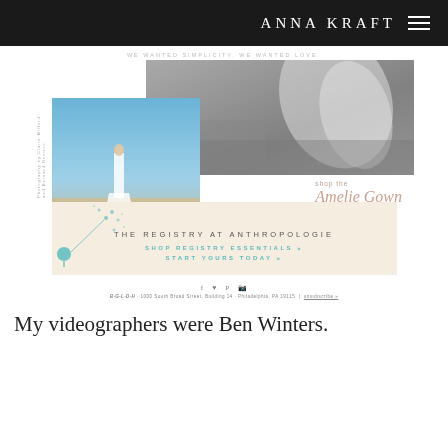ANNA KRAFT
[Figure (screenshot): Email newsletter screenshot showing wedding dress photos, shop links for Amelie Gown and All Gowns, Anthropologie registry banner with dandelion graphic, social icons, and footer address]
My videographers were Ben Winters.